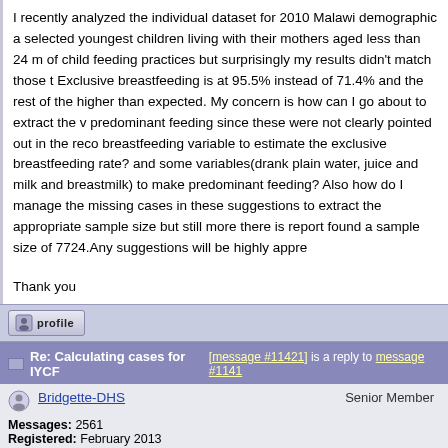I recently analyzed the individual dataset for 2010 Malawi demographic a selected youngest children living with their mothers aged less than 24 m of child feeding practices but surprisingly my results didn't match those t Exclusive breastfeeding is at 95.5% instead of 71.4% and the rest of the higher than expected. My concern is how can I go about to extract the v predominant feeding since these were not clearly pointed out in the reco breastfeeding variable to estimate the exclusive breastfeeding rate? and some variables(drank plain water, juice and milk and breastmilk) to make predominant feeding? Also how do I manage the missing cases in these suggestions to extract the appropriate sample size but still more there is report found a sample size of 7724.Any suggestions will be highly appre
Thank you
[Figure (other): Profile button with user icon]
Re: Calculating cases for IYCF [message #11421 is a reply to message #1141
Bridgette-DHS    Senior Member
Messages: 2561
Registered: February 2013